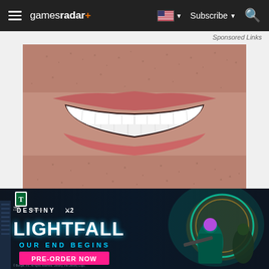gamesradar+ navigation bar with hamburger menu, flag/Subscribe/Search
Sponsored Links
[Figure (photo): Close-up photo of a smiling man's mouth showing white teeth, with stubble/beard around lips]
[Figure (photo): Destiny 2 Lightfall advertisement: dark sci-fi themed banner with text 'DESTINY 2 LIGHTFALL - OUR END BEGINS' and a pink 'PRE-ORDER NOW' button, ESRB Teen rating, Bungie logo, armored characters on right side]